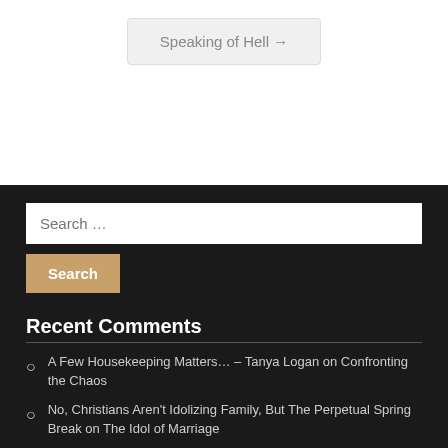Speaking of Hell →
Recent Comments
A Few Housekeeping Matters… – Tanya Logan on Confronting the Chaos
No, Christians Aren't Idolizing Family, But The Perpetual Spring Break on The Idol of Marriage